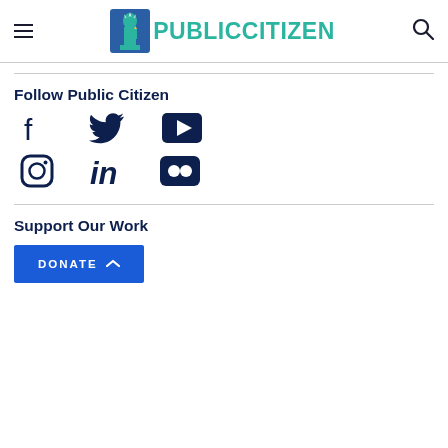Public Citizen (navigation header with logo, hamburger menu, search icon)
Follow Public Citizen
[Figure (other): Social media icons: Facebook, Twitter, YouTube, Instagram, LinkedIn, Flickr]
Support Our Work
DONATE